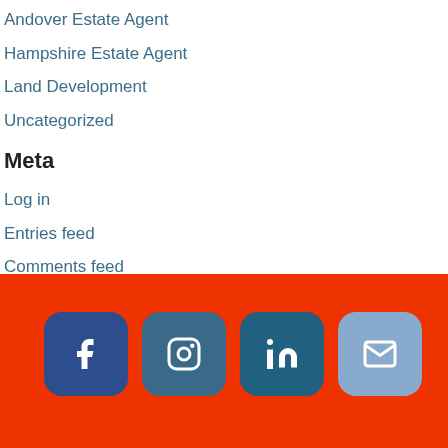Andover Estate Agent
Hampshire Estate Agent
Land Development
Uncategorized
Meta
Log in
Entries feed
Comments feed
WordPress.org
[Figure (infographic): Red footer bar with four rounded square social media icons: Facebook (dark blue), Instagram (medium blue), LinkedIn (teal/dark blue), Email (light blue)]